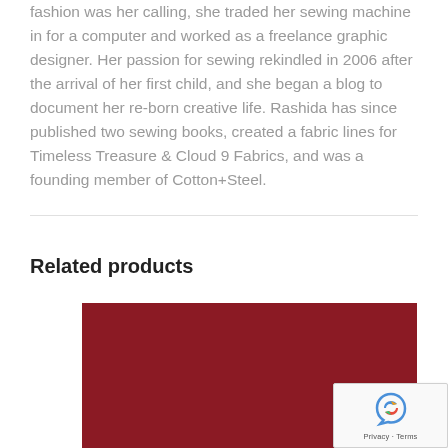fashion was her calling, she traded her sewing machine in for a computer and worked as a freelance graphic designer. Her passion for sewing rekindled in 2006 after the arrival of her first child, and she began a blog to document her re-born creative life. Rashida has since published two sewing books, created a fabric lines for Timeless Treasure & Cloud 9 Fabrics, and was a founding member of Cotton+Steel.
Related products
[Figure (photo): A dark red/crimson solid-colored fabric product image]